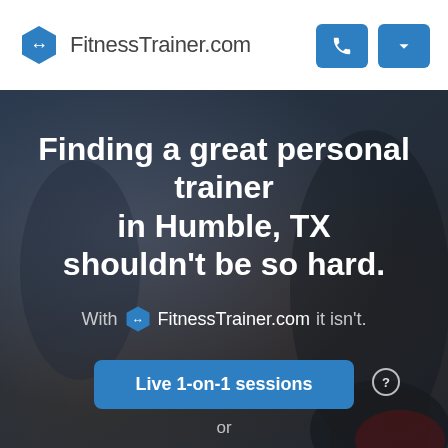FitnessTrainer.com
Finding a great personal trainer in Humble, TX shouldn't be so hard.
With FitnessTrainer.com it isn't.
Live 1-on-1 sessions
or
Virtual Training